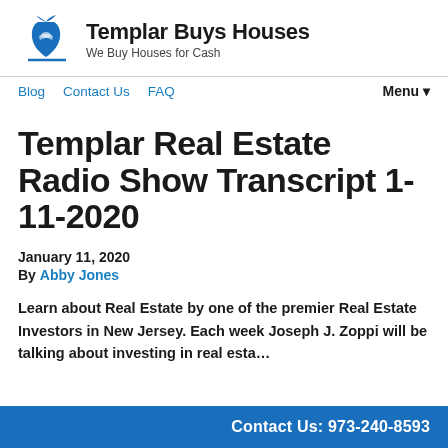Templar Buys Houses — We Buy Houses for Cash
Blog   Contact Us   FAQ   Menu ▼
Templar Real Estate Radio Show Transcript 1-11-2020
January 11, 2020
By Abby Jones
Learn about Real Estate by one of the premier Real Estate Investors in New Jersey. Each week Joseph J. Zoppi will be talking about investing in real estate, inve…
Contact Us: 973-240-8593